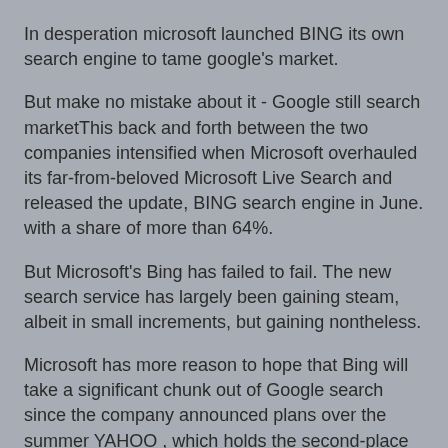In desperation microsoft launched BING its own search engine to tame google's market.
But make no mistake about it - Google still search marketThis back and forth between the two companies intensified when Microsoft overhauled its far-from-beloved Microsoft Live Search and released the update, BING search engine in June. with a share of more than 64%.
But Microsoft's Bing has failed to fail. The new search service has largely been gaining steam, albeit in small increments, but gaining nontheless.
Microsoft has more reason to hope that Bing will take a significant chunk out of Google search since the company announced plans over the summer YAHOO , which holds the second-place spot in the search market - nestled snugly between Google and third-place Bing. The deal, which still has to be approved in the U.S. and in Europe, would have Yahoo give up its own search technology to use Microsoft's